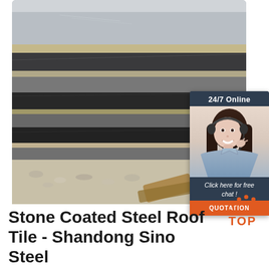[Figure (photo): Close-up photo of stacked dark steel plates/sheets with layered edges visible, shot at an angle. Gravel ground visible at bottom.]
[Figure (infographic): Customer service chat widget overlay: dark teal background with '24/7 Online' header, photo of smiling woman with headset, italic text 'Click here for free chat!', and orange QUOTATION button.]
[Figure (logo): TOP logo with orange dot pattern above and orange bold TOP text]
Stone Coated Steel Roof Tile - Shandong Sino Steel